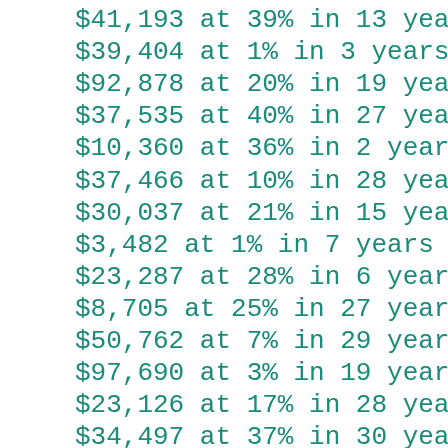$41,193 at 39% in 13 years
$39,404 at 1% in 3 years
$92,878 at 20% in 19 years
$37,535 at 40% in 27 years
$10,360 at 36% in 2 years
$37,466 at 10% in 28 years
$30,037 at 21% in 15 years
$3,482 at 1% in 7 years
$23,287 at 28% in 6 years
$8,705 at 25% in 27 years
$50,762 at 7% in 29 years
$97,690 at 3% in 19 years
$23,126 at 17% in 28 years
$34,497 at 37% in 30 years
$77,668 at 32% in 10 years
$96,788 at 35% in 10 years
$5,960 at 14% in 27 years
$78,818 at 5% in 26 years